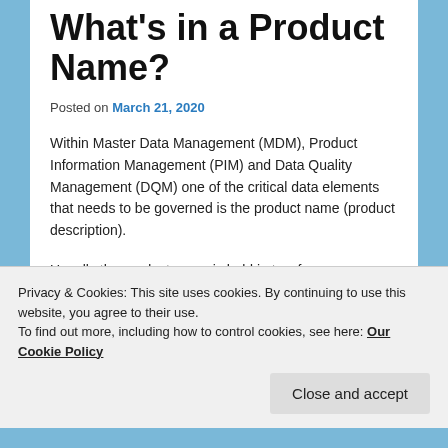What's in a Product Name?
Posted on March 21, 2020
Within Master Data Management (MDM), Product Information Management (PIM) and Data Quality Management (DQM) one of the critical data elements that needs to be governed is the product name (product description).
Usually the product name is held in two forms:
Privacy & Cookies: This site uses cookies. By continuing to use this website, you agree to their use.
To find out more, including how to control cookies, see here: Our Cookie Policy